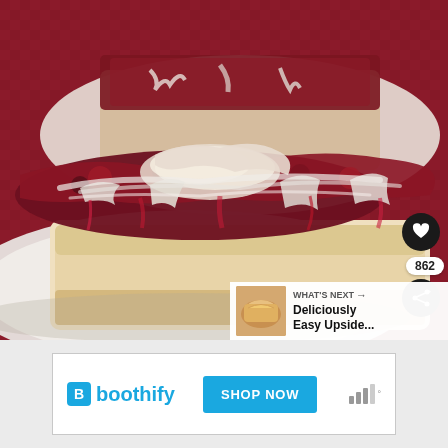[Figure (photo): A slice of cherry or berry cobbler/cake bar with cream cheese and berry filling on a white plate, drizzled with white glaze, set on a red checkered tablecloth. Another serving is visible in the background on a separate plate.]
[Figure (infographic): UI overlay on photo: circular dark heart/like button with heart icon, like count '862', circular dark share button with share icon]
WHAT'S NEXT → Deliciously Easy Upside...
[Figure (screenshot): Advertisement banner: Boothify logo (blue B icon with 'boothify' text) on left, blue 'SHOP NOW' button in center, signal/wifi bars icon on right]